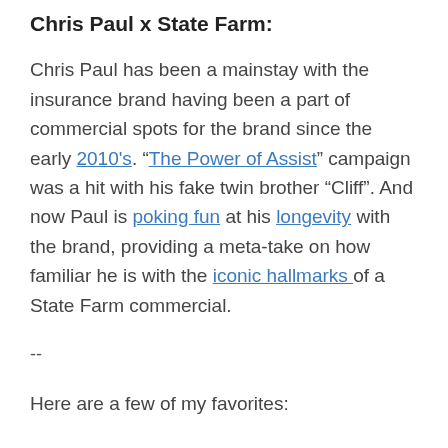Chris Paul x State Farm:
Chris Paul has been a mainstay with the insurance brand having been a part of commercial spots for the brand since the early 2010's. “The Power of Assist” campaign was a hit with his fake twin brother “Cliff”. And now Paul is poking fun at his longevity with the brand, providing a meta-take on how familiar he is with the iconic hallmarks of a State Farm commercial.
--
Here are a few of my favorites: